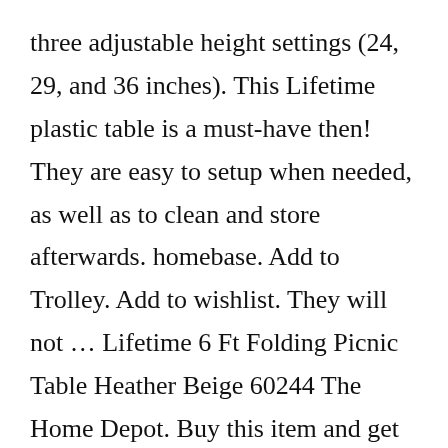three adjustable height settings (24, 29, and 36 inches). This Lifetime plastic table is a must-have then! They are easy to setup when needed, as well as to clean and store afterwards. homebase. Add to Trolley. Add to wishlist. They will not … Lifetime 6 Ft Folding Picnic Table Heather Beige 60244 The Home Depot. Buy this item and get 90 days Free Amazon Music Unlimited. 4.6 out of 5 stars 1,430. Only one slight negative is the length, another foot or two would make